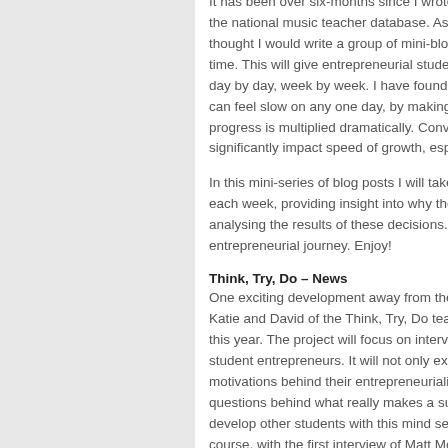It has been over six-months since I wrote my... the national music teacher database. As we... thought I would write a group of mini-blog up... time. This will give entrepreneurial students a... day by day, week by week. I have found from... can feel slow on any one day, by making mu... progress is multiplied dramatically. Converse... significantly impact speed of growth, especia...
In this mini-series of blog posts I will take yo... each week, providing insight into why these... analysing the results of these decisions. By d... entrepreneurial journey. Enjoy!
Think, Try, Do – News
One exciting development away from the bus... Katie and David of the Think, Try, Do team o... this year. The project will focus on interviewin... student entrepreneurs. It will not only explore... motivations behind their entrepreneurialism.... questions behind what really makes a succes... develop other students with this mind set. Th... course, with the first interview of Matt Morley... interviewed for the project.
MGR Music – Six Months of Development
In my last post (August 2017), I talked a lot a...